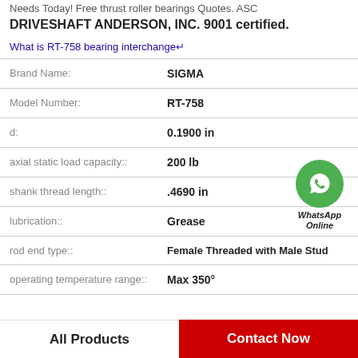Needs Today! Free thrust roller bearings Quotes. ASC DRIVESHAFT ANDERSON, INC. 9001 certified.
What is RT-758 bearing interchange
| Property | Value |
| --- | --- |
| Brand Name: | SIGMA |
| Model Number: | RT-758 |
| d: | 0.1900 in |
| axial static load capacity:: | 200 lb |
| shank thread length:: | .4690 in |
| lubrication:: | Grease |
| rod end type:: | Female Threaded with Male Stud |
| operating temperature range:: | Max 350° |
[Figure (other): WhatsApp Online contact widget with green phone icon]
All Products
Contact Now